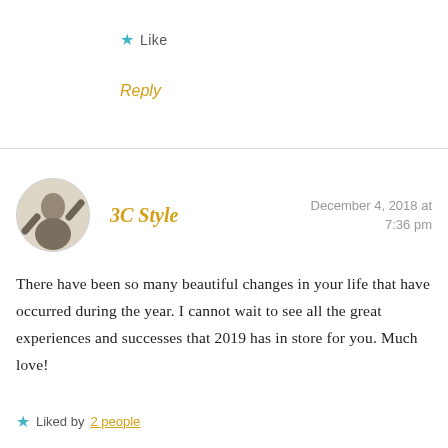★ Like
Reply
3C Style
December 4, 2018 at 7:36 pm
There have been so many beautiful changes in your life that have occurred during the year. I cannot wait to see all the great experiences and successes that 2019 has in store for you. Much love!
★ Liked by 2 people